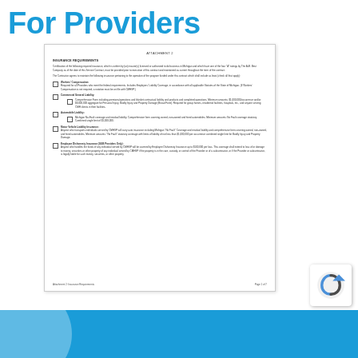For Providers
ATTACHMENT 2
INSURANCE REQUIREMENTS
Certification of the following required insurance, which is written by (an) insurer(s) licensed or authorized to do business in Michigan and which have one of the four "A" ratings by The A.M. Best Company as of the date of this Service Contract, must be provided prior to execution of this contract and maintained as current throughout the term of the contract.
The Contractor agrees to maintain the following insurance pertaining to the operation of the program funded under this contract which shall include as least (check all that apply):
Workers' Compensation:
Required for all Providers who meet the federal requirements. Includes Employers' Liability Coverage, in accordance with all applicable Statutes of the State of Michigan. (If Workers' Compensation is not required, a notation must be on file with CMHSP.)
Commercial General Liability:
Comprehensive Form including premises/operations and blanket contractual liability and products and completed operations. Minimum amounts: $1,000,000/occurrence and/or $3,000,000 aggregate for Personal Injury, Bodily Injury and Property Damage (Broad Form). Required for group homes, residential facilities, hospitals, etc., and anyone serving CMH clients in their facilities.
Automobile Liability:
Michigan No-Fault coverage and residual liability. Comprehensive form covering owned, non-owned and hired automobiles. Minimum amounts: No Fault coverage statutory Combined single limit of $1,000,000.
Motor Vehicle Liability Insurance:
Anyone who transports individuals served by CMHSP will carry auto insurance including Michigan "No Fault" Coverage and residual liability and comprehensive form covering owned, non-owned, and hired automobiles. Minimum amounts: "No Fault" statutory coverage with limits of liability of not less than $1,000,000 per occurrence combined single limit for Bodily Injury and Property Damage.
Employee Dishonesty Insurance (SUB Providers Only):
Anyone who handles the funds of any individual served by CMHSP will be covered by Employee Dishonesty Insurance up to $100,000 per loss. This coverage shall extend to loss of or damage to money, securities or other property of any individual served by CMHSP if the property is in the care, custody, or control of the Provider or of a subcontractor, or if the Provider or subcontractor, is legally liable for such money, securities, or other property.
Attachment 2: Insurance Requirements                                                     Page 1 of 7